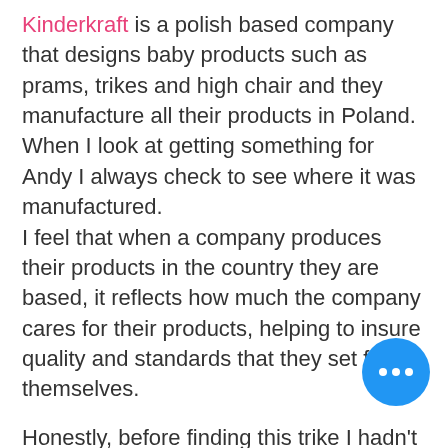Kinderkraft is a polish based company that designs baby products such as prams, trikes and high chair and they manufacture all their products in Poland. When I look at getting something for Andy I always check to see where it was manufactured. I feel that when a company produces their products in the country they are based, it reflects how much the company cares for their products, helping to insure quality and standards that they set for themselves.
Honestly, before finding this trike I hadn't heard of the Kinderkraft brand, but i'm so glad that I found them! I have full confidence in the quality trike, and if their Aveo tricycle is anything